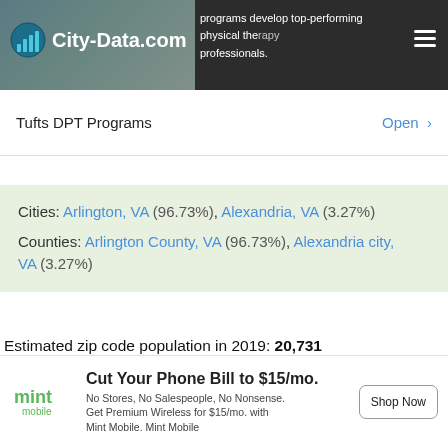City-Data.com
programs develop top-performing physical therapy professionals.
Tufts DPT Programs   Open >
Cities: Arlington, VA (96.73%), Alexandria, VA (3.27%)
Counties: Arlington County, VA (96.73%), Alexandria city, VA (3.27%)
Estimated zip code population in 2019: 20,731
Zip code population in 2010: 19,051
Zip code population in 2000: 19,000
[Figure (infographic): Mint Mobile advertisement: Cut Your Phone Bill to $15/mo. No Stores, No Salespeople, No Nonsense. Get Premium Wireless for $15/mo. with Mint Mobile. Shop Now button.]